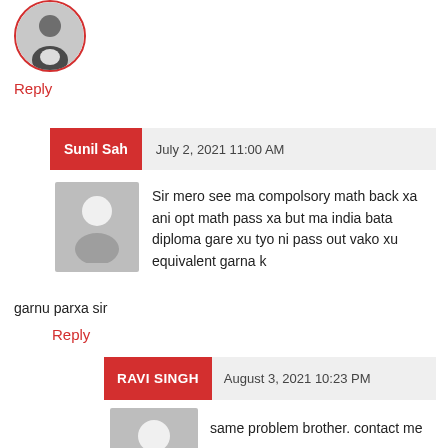[Figure (photo): Circular avatar photo of a man in suit, with red border, at top left]
Reply
Sunil Sah    July 2, 2021 11:00 AM
[Figure (photo): Generic gray user avatar placeholder silhouette]
Sir mero see ma compolsory math back xa ani opt math pass xa but ma india bata diploma gare xu tyo ni pass out vako xu equivalent garna k garnu parxa sir
Reply
RAVI SINGH    August 3, 2021 10:23 PM
[Figure (photo): Generic gray user avatar placeholder silhouette]
same problem brother. contact me